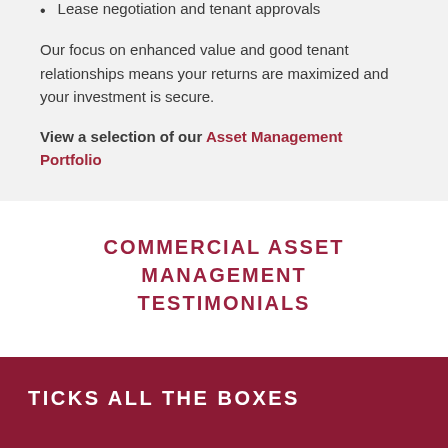Lease negotiation and tenant approvals
Our focus on enhanced value and good tenant relationships means your returns are maximized and your investment is secure.
View a selection of our Asset Management Portfolio
COMMERCIAL ASSET MANAGEMENT TESTIMONIALS
TICKS ALL THE BOXES